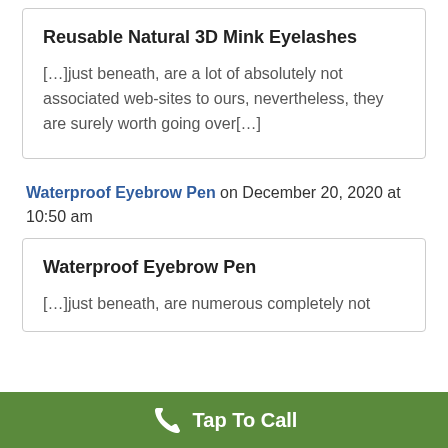Reusable Natural 3D Mink Eyelashes
[…]just beneath, are a lot of absolutely not associated web-sites to ours, nevertheless, they are surely worth going over[…]
Waterproof Eyebrow Pen on December 20, 2020 at 10:50 am
Waterproof Eyebrow Pen
[…]just beneath, are numerous completely not
Tap To Call